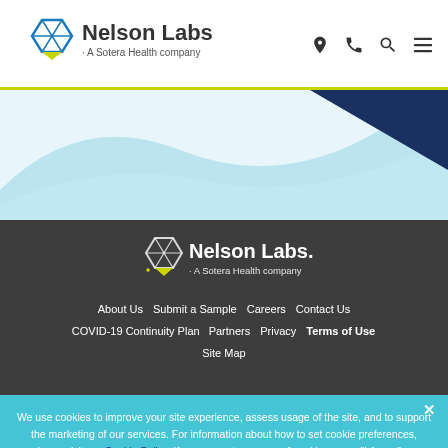Nelson Labs. A Sotera Health company
[Figure (illustration): Wave/hero background with light blue and dark navy wave shapes]
[Figure (logo): Nelson Labs white logo with icon and text 'A Sotera Health company' on dark background]
About Us  Submit a Sample  Careers  Contact Us  COVID-19 Continuity Plan  Partners  Privacy  Terms of Use  Site Map
We use cookies to improve your site experience, assess usage of the site, and to support the marketing of our services. For information about how to set cookie preferences, please visit our Cookie Policy. If you agree to our use of cookies press "I Agree", or continue to use our site, which will be considered consent.
I Agree  Cookie Policy